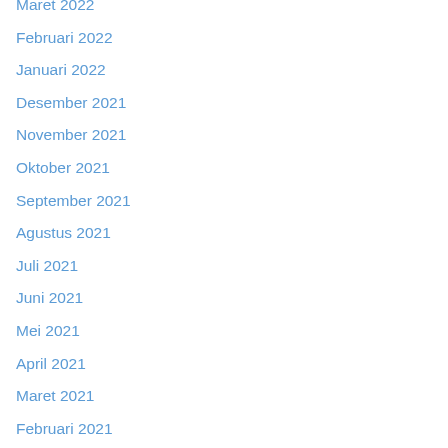Maret 2022
Februari 2022
Januari 2022
Desember 2021
November 2021
Oktober 2021
September 2021
Agustus 2021
Juli 2021
Juni 2021
Mei 2021
April 2021
Maret 2021
Februari 2021